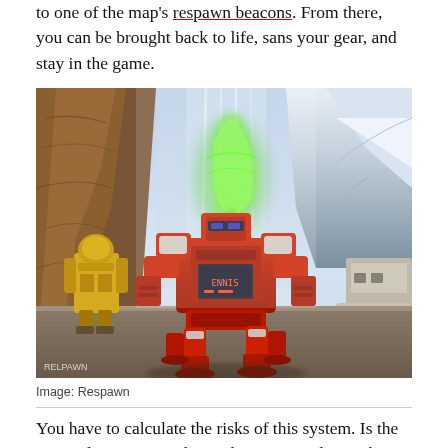to one of the map's respawn beacons. From there, you can be brought back to life, sans your gear, and stay in the game.
[Figure (photo): Screenshot from Apex Legends video game showing a large red quadrupedal mech robot (Pathfinder) and a character in yellow gear standing on a platform, with a glowing green holographic figure above, rocky canyon landscape and snowy mountains in background.]
Image: Respawn
You have to calculate the risks of this system. Is the enemy leaving your downed teammate alive as bait? Are they going to camp the respawn beacon and catch you then? This tension creates some memorable scenarios. Once, I raced